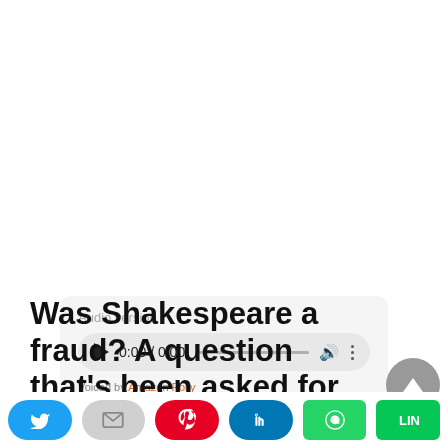[Figure (other): Audio player widget with play button, time display 0:00 / 0:00, progress bar, volume and more icons. Labeled 'Audio version'. Voiced by Amazon Polly.]
Was Shakespeare a fraud? A question that's been asked for hundreds of years and Roland Emmerich decided to run some
[Figure (infographic): Social share bar with Twitter, Email, Pinterest, LinkedIn, WhatsApp, and LINE share buttons]